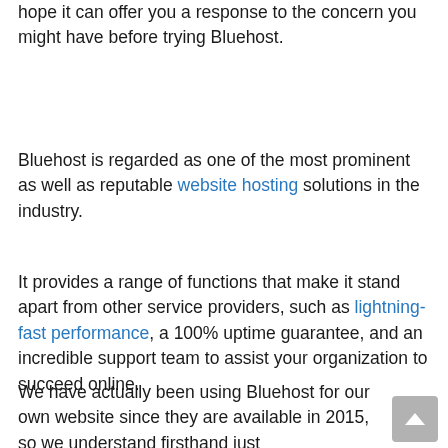hope it can offer you a response to the concern you might have before trying Bluehost.
Bluehost is regarded as one of the most prominent as well as reputable website hosting solutions in the industry.
It provides a range of functions that make it stand apart from other service providers, such as lightning-fast performance, a 100% uptime guarantee, and an incredible support team to assist your organization to succeed online.
We have actually been using Bluehost for our own website since they are available in 2015, so we understand firsthand just